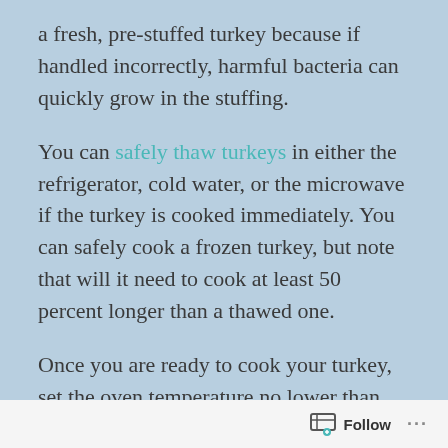a fresh, pre-stuffed turkey because if handled incorrectly, harmful bacteria can quickly grow in the stuffing.
You can safely thaw turkeys in either the refrigerator, cold water, or the microwave if the turkey is cooked immediately. You can safely cook a frozen turkey, but note that will it need to cook at least 50 percent longer than a thawed one.
Once you are ready to cook your turkey, set the oven temperature no lower than 325 degrees Fahrenheit, and sit the bird on a rack in a shallow roasting pan. You can add one-
Follow ...